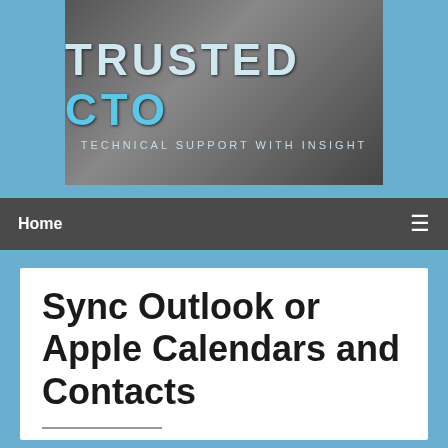[Figure (logo): Trusted CTO logo — 'TRUSTED CTO' in large letters with 'TECHNICAL SUPPORT WITH INSIGHT' tagline on a dark gradient background]
Home
Sync Outlook or Apple Calendars and Contacts
TrustedCTO | Posted on March 20, 2014 | Posted in
Advanced, community, Email, productivity, save money, Smartphone, software, YMCA — No Comments ↓